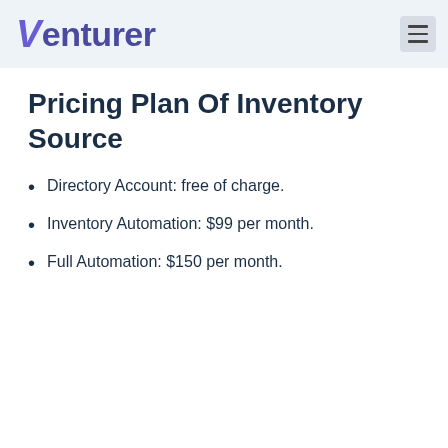Venturer
Pricing Plan Of Inventory Source
Directory Account: free of charge.
Inventory Automation: $99 per month.
Full Automation: $150 per month.